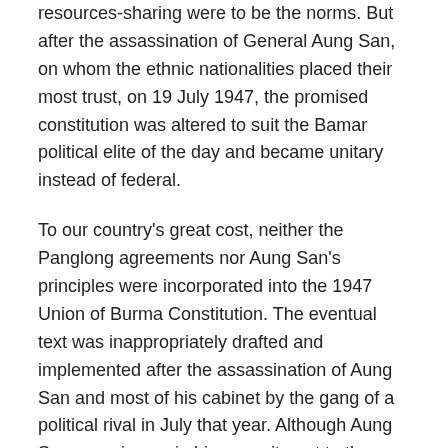resources-sharing were to be the norms. But after the assassination of General Aung San, on whom the ethnic nationalities placed their most trust, on 19 July 1947, the promised constitution was altered to suit the Bamar political elite of the day and became unitary instead of federal.
To our country's great cost, neither the Panglong agreements nor Aung San's principles were incorporated into the 1947 Union of Burma Constitution. The eventual text was inappropriately drafted and implemented after the assassination of Aung San and most of his cabinet by the gang of a political rival in July that year. Although Aung San was sincere in his commitment to the formation of a union or federal system of governance, his successor U Nu was not to be the same. U Nu asked Chan Htun, a constitutional adviser, to redraft the text into a semi-unitary Union Constitution that was promulgated by the Constituent